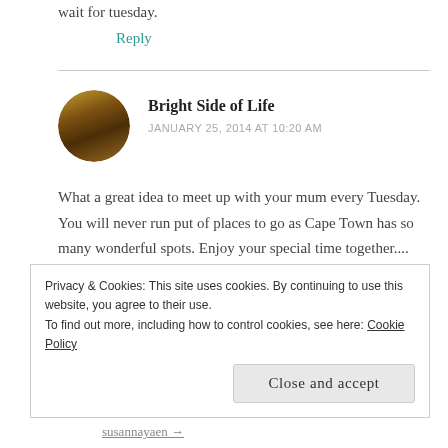wait for Tuesday.
Reply
Bright Side of Life
JANUARY 25, 2014 AT 10:20 AM
What a great idea to meet up with your mum every Tuesday. You will never run out of places to go as Cape Town has so many wonderful spots. Enjoy your special time together.... and the coffee!
Privacy & Cookies: This site uses cookies. By continuing to use this website, you agree to their use.
To find out more, including how to control cookies, see here: Cookie Policy
Close and accept
susannayaen →